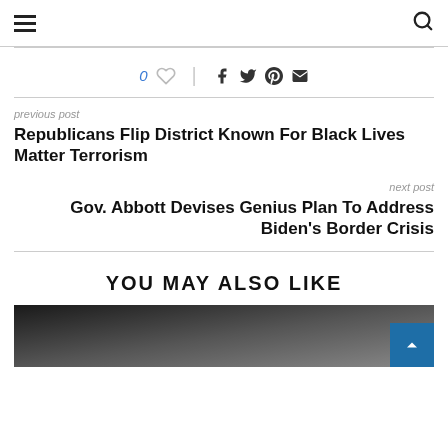Navigation bar with hamburger menu and search icon
0 ♡ | f t p ✉
previous post
Republicans Flip District Known For Black Lives Matter Terrorism
next post
Gov. Abbott Devises Genius Plan To Address Biden's Border Crisis
YOU MAY ALSO LIKE
[Figure (photo): Thumbnail photo of a person, partially visible at bottom of page]